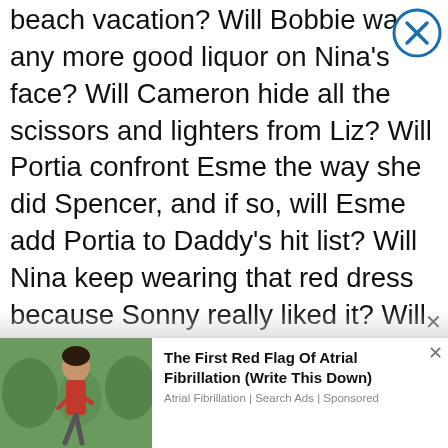beach vacation? Will Bobbie waste any more good liquor on Nina's face? Will Cameron hide all the scissors and lighters from Liz? Will Portia confront Esme the way she did Spencer, and if so, will Esme add Portia to Daddy's hit list? Will Nina keep wearing that red dress because Sonny really liked it? Will Finn work harder to track down Hayden so he can get Liz's sister back to town, as she clearly needs family support? Will Liz's sons let Grandpa MacGyver know he needs to come to town and fix his broken daughter?
[Figure (other): Walgreens advertisement banner showing Walgreens logo (red W on white speech bubble), partial text 'Looking For Essentials To Keep You Safe? We've Got Th...' and a blue diamond navigation icon]
[Figure (other): Native advertisement showing a woman runner outdoors, with text 'The First Red Flag Of Atrial Fibrillation (Write This Down)' and source 'Atrial Fibrillation | Search Ads | Sponsored']